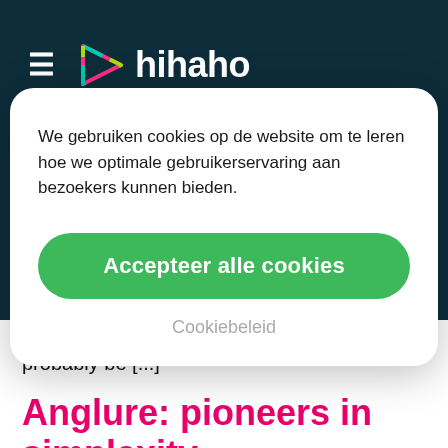≡  hihaho
We gebruiken cookies op de website om te leren hoe we optimale gebruikerservaring aan bezoekers kunnen bieden.
Accepteer alle cookies
Cookiebeleid
presentation. However, most of us will probably be [...]
Anglure: pioneers in simplexity